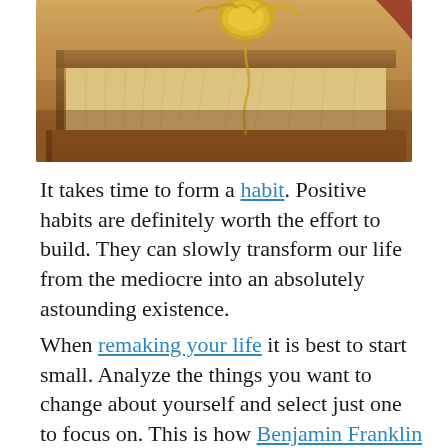[Figure (photo): Close-up photo of stacked old books with pages fanned open and a gold pocket watch chain draped over them, warm golden-brown tones.]
It takes time to form a habit. Positive habits are definitely worth the effort to build. They can slowly transform our life from the mediocre into an absolutely astounding existence.
When remaking your life it is best to start small. Analyze the things you want to change about yourself and select just one to focus on. This is how Benjamin Franklin did it. He would chronicle his success and failures in a journal for as ti... [continues]